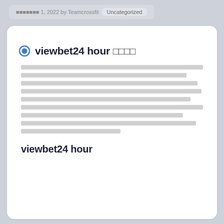▪▪▪▪▪▪▪ 1, 2022 by Teamcrossfit  Uncategorized
viewbet24 hour ████
[Thai placeholder text body paragraph]
viewbet24 hour